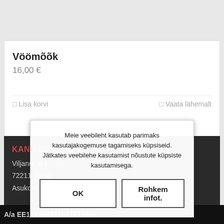Vöömõõk
16,00 €
□ Lisa korvi   □ Vaata lähemalt
KANGASPUU OÜ
Viljandi tn 1, Türi
72211 Järva
Asukoht kaardil
Meie veebileht kasutab parimaks kasutajakogemuse tagamiseks küpsiseid. Jätkates veebilehe kasutamist nõustute küpsiste kasutamisega.
OK
Rohkem infot.
A/a EE112200221047175900